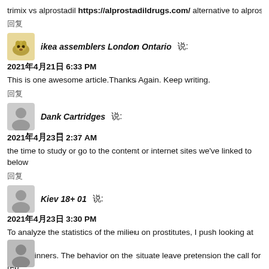trimix vs alprostadil https://alprostadildrugs.com/ alternative to alprostadi…
回复
ikea assemblers London Ontario 说:
2021年4月21日 6:33 PM
This is one awesome article.Thanks Again. Keep writing.
回复
Dank Cartridges 说:
2021年4月23日 2:37 AM
the time to study or go to the content or internet sites we've linked to below…
回复
Kiev 18+ 01 说:
2021年4月23日 3:30 PM
To analyze the statistics of the milieu on prostitutes, I push looking at the st… pro beginners. The behavior on the situate leave pretension the call for rep… services in the diocese of Kiev. Graphic Mesh Pants "MOON" » PLAY FUN!?????????????????????????????????????HXB?
回复